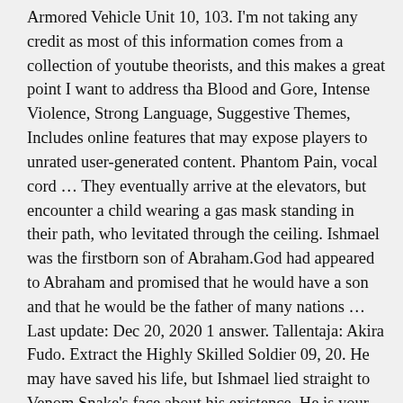Armored Vehicle Unit 10, 103. I'm not taking any credit as most of this information comes from a collection of youtube theorists, and this makes a great point I want to address tha Blood and Gore, Intense Violence, Strong Language, Suggestive Themes, Includes online features that may expose players to unrated user-generated content. Phantom Pain, vocal cord … They eventually arrive at the elevators, but encounter a child wearing a gas mask standing in their path, who levitated through the ceiling. Ishmael was the firstborn son of Abraham.God had appeared to Abraham and promised that he would have a son and that he would be the father of many nations … Last update: Dec 20, 2020 1 answer. Tallentaja: Akira Fudo. Extract the Highly Skilled Soldier 09, 20. He may have saved his life, but Ishmael lied straight to Venom Snake's face about his existence. He is your savior through the prologue, but who exactly is Ishmael? Ahab's brain was so screwed up from the injury, the coma, and rewiring his memory, that as he was trying to escape the hospital, he'd think "I need to do this, I need to go here" and saw himself in those